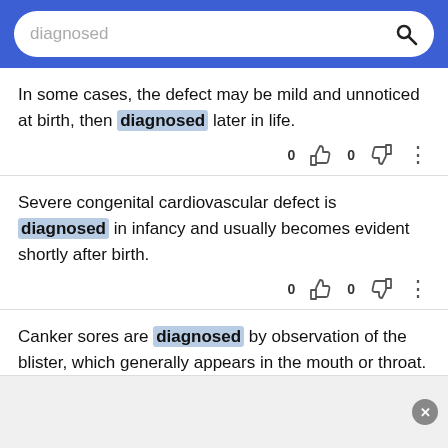diagnosed
In some cases, the defect may be mild and unnoticed at birth, then diagnosed later in life.
Severe congenital cardiovascular defect is diagnosed in infancy and usually becomes evident shortly after birth.
Canker sores are diagnosed by observation of the blister, which generally appears in the mouth or throat.